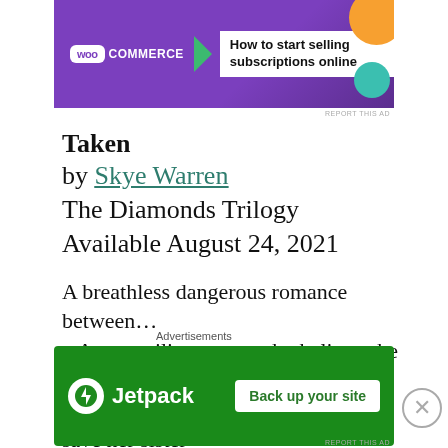[Figure (screenshot): WooCommerce advertisement banner: purple background with WooCommerce logo and text 'How to start selling subscriptions online' with colorful decorative elements]
Taken
by Skye Warren
The Diamonds Trilogy
Available August 24, 2021
A breathless dangerous romance between...
– An ex-military man who believes he has no honor left, and
– A reclusive author on a mission to save her sister
Advertisements
[Figure (screenshot): Jetpack advertisement banner: green background with Jetpack logo and 'Back up your site' button]